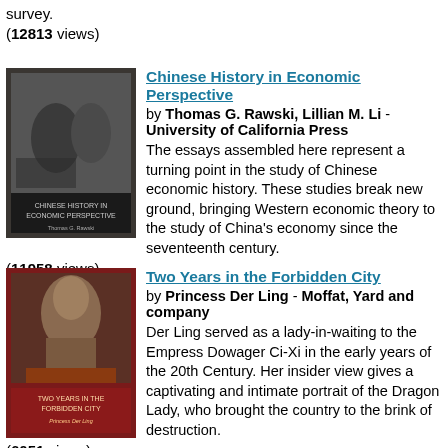survey.
(12813 views)
[Figure (illustration): Book cover: Chinese History in Economic Perspective, black and white photo of people working]
Chinese History in Economic Perspective by Thomas G. Rawski, Lillian M. Li - University of California Press. The essays assembled here represent a turning point in the study of Chinese economic history. These studies break new ground, bringing Western economic theory to the study of China's economy since the seventeenth century. (11958 views)
[Figure (illustration): Book cover: Two Years in the Forbidden City by Princess Der Ling, red cover with vintage photo]
Two Years in the Forbidden City by Princess Der Ling - Moffat, Yard and company. Der Ling served as a lady-in-waiting to the Empress Dowager Ci-Xi in the early years of the 20th Century. Her insider view gives a captivating and intimate portrait of the Dragon Lady, who brought the country to the brink of destruction. (6051 views)